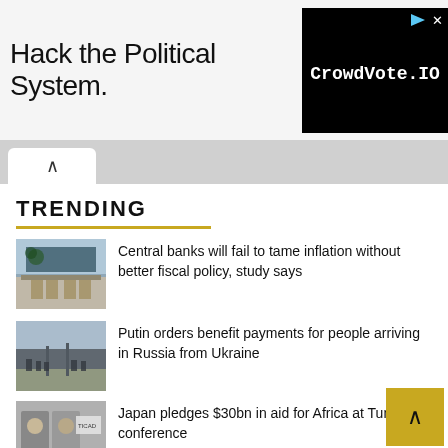[Figure (screenshot): Advertisement banner: 'Hack the Political System.' with CrowdVote.IO logo on black background]
TRENDING
[Figure (photo): Exterior of a Federal Reserve or government building with columns and trees]
Central banks will fail to tame inflation without better fiscal policy, study says
[Figure (photo): People walking at a train station or transport hub]
Putin orders benefit payments for people arriving in Russia from Ukraine
[Figure (photo): People at a conference with TICAD branding]
Japan pledges $30bn in aid for Africa at Tunisia conference